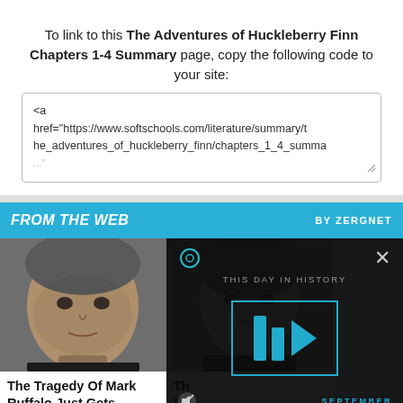To link to this The Adventures of Huckleberry Finn Chapters 1-4 Summary page, copy the following code to your site:
<a href="https://www.softschools.com/literature/summary/the_adventures_of_huckleberry_finn/chapters_1_4_summa ...
FROM THE WEB
BY ZERGNET
[Figure (photo): Photo of Mark Ruffalo, a middle-aged man with grey-streaked hair]
The Tragedy Of Mark Ruffalo Just Gets Sadder And Sadder
[Figure (photo): Black and white photo of a person]
Th... Wa... Wh... Is...
[Figure (screenshot): Video overlay showing 'THIS DAY IN HISTORY' with a play button and SEPTEMBER text, dark background]